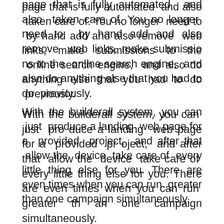page that is fully automated and also taken care of. You no longer need to by hand add and also remove web links, make submissions to the online search engine, and also do anything else that you had to do previously.
With the builderall system, you can just produce a landing web page for a provided project, and after that allow the device take care of every little thing else for you. There are even times when you can run greater than one campaign simultaneously.
If you intend to do this, the builderall system permits you to do so.
In recap, builderall offers you the most effe ctive option for your company for your advertising